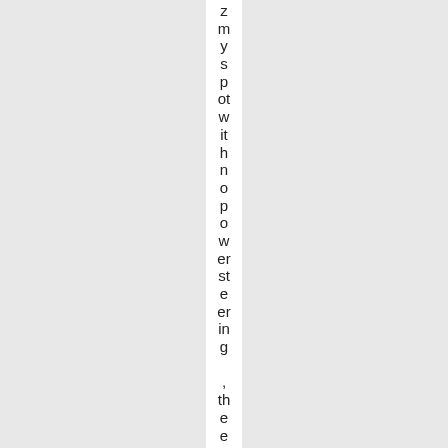myspotwithno powersteering, the engine h